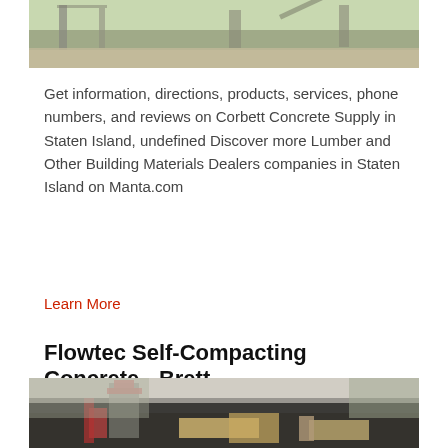[Figure (photo): Aerial or ground-level view of a concrete or building materials facility with industrial structures and equipment]
Get information, directions, products, services, phone numbers, and reviews on Corbett Concrete Supply in Staten Island, undefined Discover more Lumber and Other Building Materials Dealers companies in Staten Island on Manta.com
Learn More
Flowtec Self-Compacting Concrete - Brett
[Figure (photo): Industrial concrete or quarry facility with large machinery, equipment towers, and hilly/forested background]